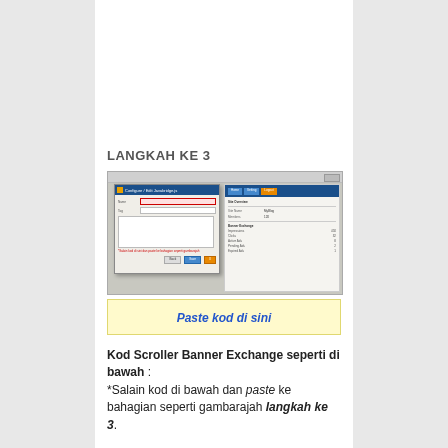LANGKAH KE 3
[Figure (screenshot): Screenshot of a software dialog box (Configure/Edit Javabridge) overlaid on a web application interface with a dark blue navigation bar and content panel]
Paste kod di sini
Kod Scroller Banner Exchange seperti di bawah : *Salain kod di bawah dan paste ke bahagian seperti gambarajah langkah ke 3.